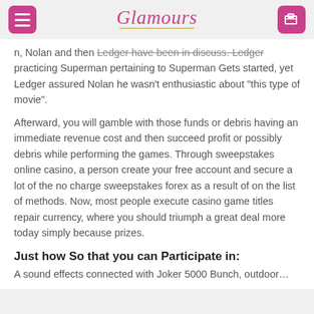Glamours
n, Nolan and then Ledger have been in discuss. Ledger practicing Superman pertaining to Superman Gets started, yet Ledger assured Nolan he wasn't enthusiastic about "this type of movie".
Afterward, you will gamble with those funds or debris having an immediate revenue cost and then succeed profit or possibly debris while performing the games. Through sweepstakes online casino, a person create your free account and secure a lot of the no charge sweepstakes forex as a result of on the list of methods. Now, most people execute casino game titles repair currency, where you should triumph a great deal more today simply because prizes.
Just how So that you can Participate in:
A sound effects connected with Joker 5000 Bunch, outdoor…